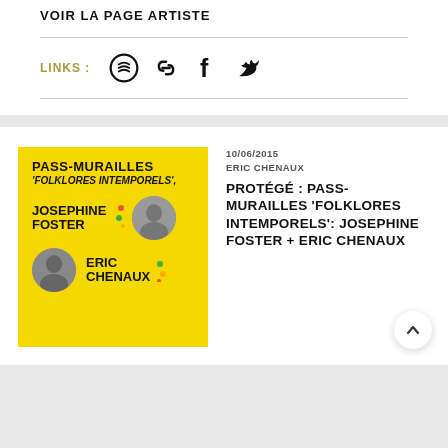VOIR LA PAGE ARTISTE
LINKS : [social icons: Spotify, Link, Facebook, Twitter]
[Figure (illustration): Album cover for Pass-Murailles 'Folklores Intemporels' featuring Josephine Foster and Eric Chenaux on yellow background]
10/06/2015
ERIC CHENAUX
PROTÉGÉ : PASS-MURAILLES 'FOLKLORES INTEMPORELS': JOSEPHINE FOSTER + ERIC CHENAUX